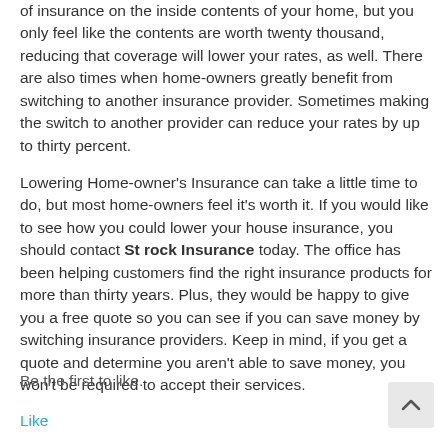of insurance on the inside contents of your home, but you only feel like the contents are worth twenty thousand, reducing that coverage will lower your rates, as well. There are also times when home-owners greatly benefit from switching to another insurance provider. Sometimes making the switch to another provider can reduce your rates by up to thirty percent.
Lowering Home-owner's Insurance can take a little time to do, but most home-owners feel it's worth it. If you would like to see how you could lower your house insurance, you should contact St rock Insurance today. The office has been helping customers find the right insurance products for more than thirty years. Plus, they would be happy to give you a free quote so you can see if you can save money by switching insurance providers. Keep in mind, if you get a quote and determine you aren't able to save money, you won't be required to accept their services.
Be the first to like.
Like